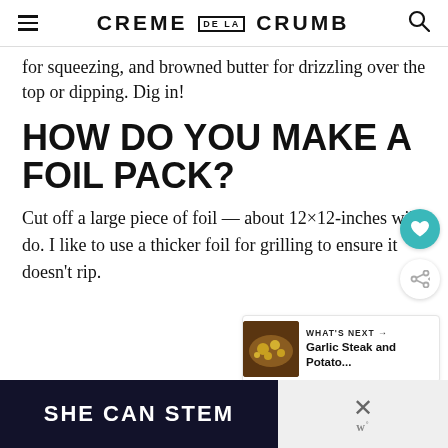CREME DE LA CRUMB
for squeezing, and browned butter for drizzling over the top or dipping. Dig in!
HOW DO YOU MAKE A FOIL PACK?
Cut off a large piece of foil — about 12×12-inches will do. I like to use a thicker foil for grilling to ensure it doesn't rip.
[Figure (screenshot): WHAT'S NEXT arrow label with thumbnail of Garlic Steak and Potato... recipe]
[Figure (screenshot): Advertisement banner with dark background reading SHE CAN STEM with close button showing X and W logo]